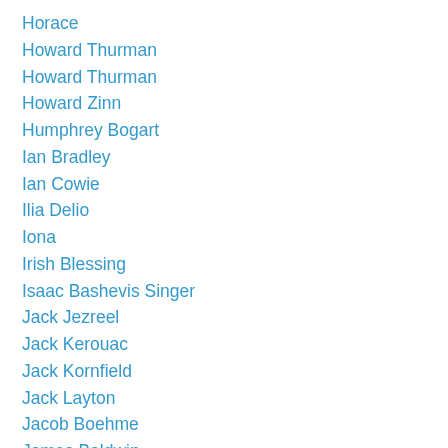Horace
Howard Thurman
Howard Thurman
Howard Zinn
Humphrey Bogart
Ian Bradley
Ian Cowie
Ilia Delio
Iona
Irish Blessing
Isaac Bashevis Singer
Jack Jezreel
Jack Kerouac
Jack Kornfield
Jack Layton
Jacob Boehme
James Baldwin
James Carroll
James Finley
James G. Blaine
James L. Overs